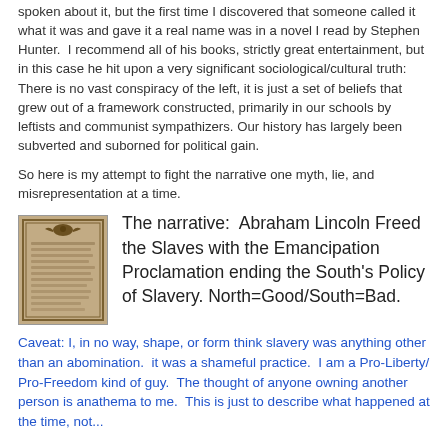spoken about it, but the first time I discovered that someone called it what it was and gave it a real name was in a novel I read by Stephen Hunter. I recommend all of his books, strictly great entertainment, but in this case he hit upon a very significant sociological/cultural truth: There is no vast conspiracy of the left, it is just a set of beliefs that grew out of a framework constructed, primarily in our schools by leftists and communist sympathizers. Our history has largely been subverted and suborned for political gain.
So here is my attempt to fight the narrative one myth, lie, and misrepresentation at a time.
[Figure (illustration): Image of the Emancipation Proclamation document with decorative border and eagle at top]
The narrative: Abraham Lincoln Freed the Slaves with the Emancipation Proclamation ending the South's Policy of Slavery. North=Good/South=Bad.
Caveat: I, in no way, shape, or form think slavery was anything other than an abomination. it was a shameful practice. I am a Pro-Liberty/ Pro-Freedom kind of guy. The thought of anyone owning another person is anathema to me. This is just to describe what happened at the time, not...